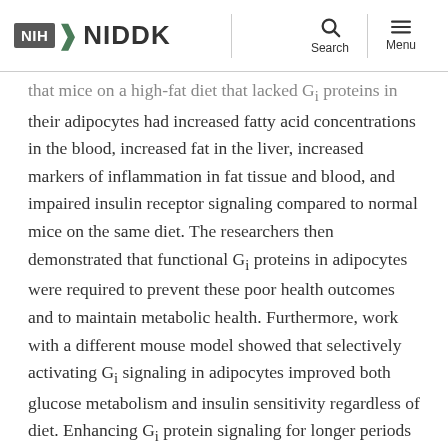NIH NIDDK — Search / Menu
that mice on a high-fat diet that lacked Gi proteins in their adipocytes had increased fatty acid concentrations in the blood, increased fat in the liver, increased markers of inflammation in fat tissue and blood, and impaired insulin receptor signaling compared to normal mice on the same diet. The researchers then demonstrated that functional Gi proteins in adipocytes were required to prevent these poor health outcomes and to maintain metabolic health. Furthermore, work with a different mouse model showed that selectively activating Gi signaling in adipocytes improved both glucose metabolism and insulin sensitivity regardless of diet. Enhancing Gi protein signaling for longer periods of time also helped improve various aspects of metabolic health while on a high-fat diet.